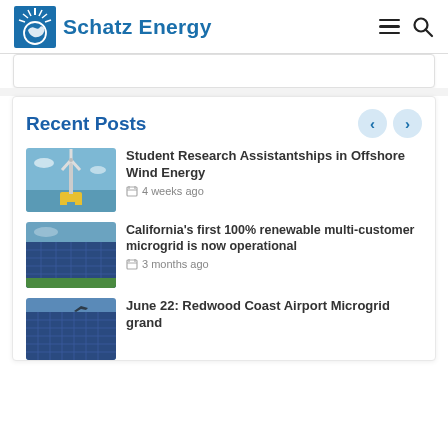Schatz Energy
Recent Posts
Student Research Assistantships in Offshore Wind Energy
4 weeks ago
California's first 100% renewable multi-customer microgrid is now operational
3 months ago
June 22: Redwood Coast Airport Microgrid grand